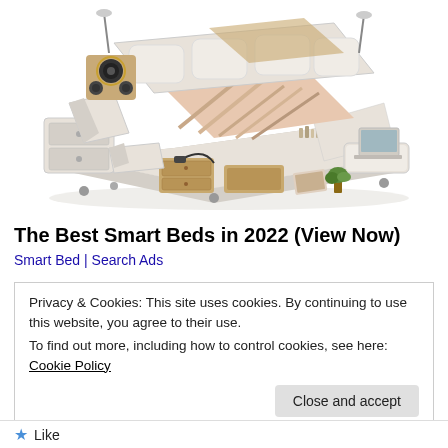[Figure (photo): A luxury multi-functional smart bed with built-in speakers, storage drawers, massage chair, laptop stand, shelving, and various accessories displayed in an isometric product photo on a white background.]
The Best Smart Beds in 2022 (View Now)
Smart Bed | Search Ads
Privacy & Cookies: This site uses cookies. By continuing to use this website, you agree to their use.
To find out more, including how to control cookies, see here: Cookie Policy
Close and accept
Like